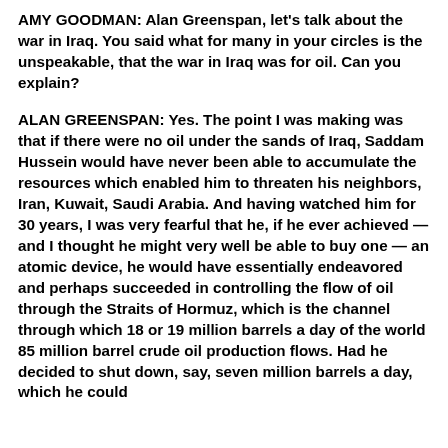AMY GOODMAN: Alan Greenspan, let's talk about the war in Iraq. You said what for many in your circles is the unspeakable, that the war in Iraq was for oil. Can you explain?
ALAN GREENSPAN: Yes. The point I was making was that if there were no oil under the sands of Iraq, Saddam Hussein would have never been able to accumulate the resources which enabled him to threaten his neighbors, Iran, Kuwait, Saudi Arabia. And having watched him for 30 years, I was very fearful that he, if he ever achieved — and I thought he might very well be able to buy one — an atomic device, he would have essentially endeavored and perhaps succeeded in controlling the flow of oil through the Straits of Hormuz, which is the channel through which 18 or 19 million barrels a day of the world 85 million barrel crude oil production flows. Had he decided to shut down, say, seven million barrels a day, which he could